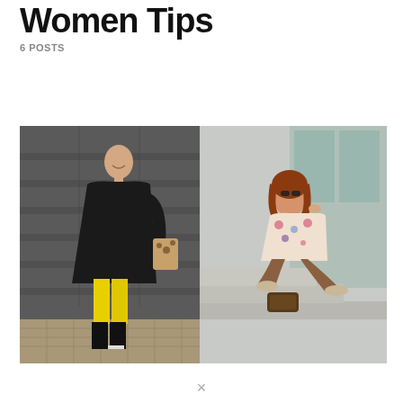Women Tips
6 POSTS
[Figure (photo): Two fashion photos side by side: left photo shows a woman with short blonde hair wearing a black coat and bright yellow pants with black boots, standing in front of a grey garage door; right photo shows a red-haired woman wearing sunglasses, a floral blouse and brown pants, sitting on concrete steps.]